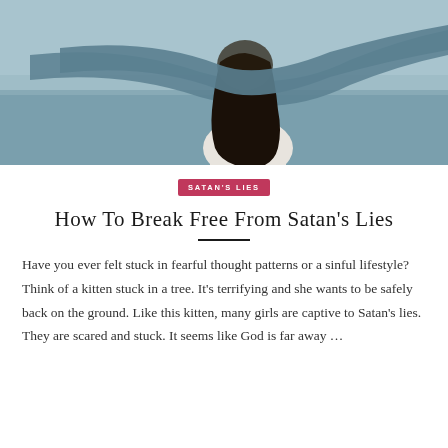[Figure (photo): A woman with long dark hair seen from behind, with a teal/grey fabric or scarf blowing across her face, standing against a light blue-grey sky and water background]
SATAN'S LIES
How To Break Free From Satan's Lies
Have you ever felt stuck in fearful thought patterns or a sinful lifestyle?  Think of a kitten stuck in a tree. It's terrifying and she wants to be safely back on the ground. Like this kitten, many girls are captive to Satan's lies. They are scared and stuck. It seems like God is far away ...